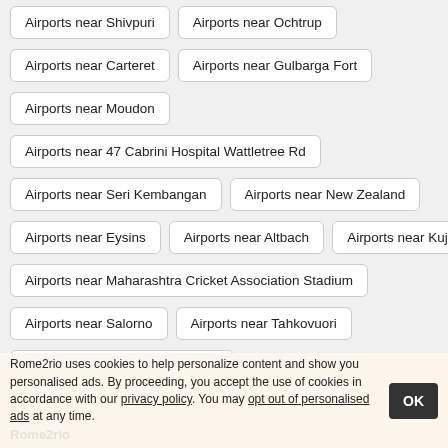Airports near Shivpuri
Airports near Ochtrup
Airports near Carteret
Airports near Gulbarga Fort
Airports near Moudon
Airports near 47 Cabrini Hospital Wattletree Rd
Airports near Seri Kembangan
Airports near New Zealand
Airports near Eysins
Airports near Altbach
Airports near Kuju
Airports near Maharashtra Cricket Association Stadium
Airports near Salorno
Airports near Tahkovuori
Airports near Agadir Airport AGA
Rome2rio uses cookies to help personalize content and show you personalised ads. By proceeding, you accept the use of cookies in accordance with our privacy policy. You may opt out of personalised ads at any time.